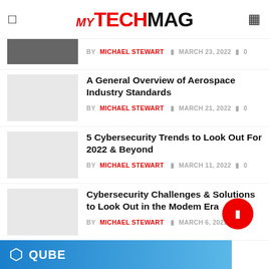MY TECH MAG
BY MICHAEL STEWART  MARCH 23, 2022  0
A General Overview of Aerospace Industry Standards
BY MICHAEL STEWART  MARCH 21, 2022  0
5 Cybersecurity Trends to Look Out For 2022 & Beyond
BY MICHAEL STEWART  MARCH 11, 2022  0
Cybersecurity Challenges & Solutions to Look Out in the Modern Era
BY MICHAEL STEWART  MARCH 6, 2022  0
1  2  ...  17  ▷